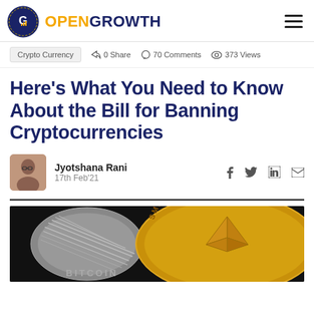OPENGROWTH
Crypto Currency  0 Share  70 Comments  373 Views
Here's What You Need to Know About the Bill for Banning Cryptocurrencies
Jyotshana Rani
17th Feb'21
[Figure (photo): Close-up photograph of gold and silver cryptocurrency coins, including one labeled SMART CONTRACTS and another labeled BITCOIN]